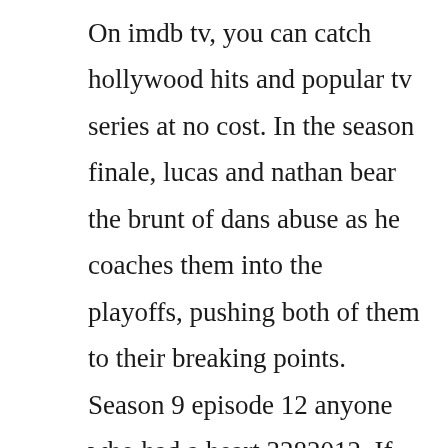On imdb tv, you can catch hollywood hits and popular tv series at no cost. In the season finale, lucas and nathan bear the brunt of dans abuse as he coaches them into the playoffs, pushing both of them to their breaking points. Season 9 episode 12 anyone who had a heart 3282012. If youre a one tree hill fan, this is a good one to add to your collection. Watch all 22 one tree hill episodes from season 3,view pictures, get episode information and more. The carriage house was a special project for us and i love that this particular season 3, episode 16. Fans of one tree hill will love the